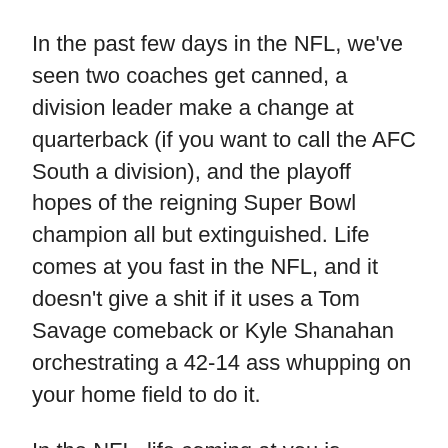In the past few days in the NFL, we've seen two coaches get canned, a division leader make a change at quarterback (if you want to call the AFC South a division), and the playoff hopes of the reigning Super Bowl champion all but extinguished. Life comes at you fast in the NFL, and it doesn't give a shit if it uses a Tom Savage comeback or Kyle Shanahan orchestrating a 42-14 ass whupping on your home field to do it.
In the NFL, life coming at you is analogous to the blind side blitzer that you never saw coming who fucks your whole world up. And it will have you taking your pictures out of your locker or off of your desk and packing your shit in an empty printing paper box before you even knew what hit you.